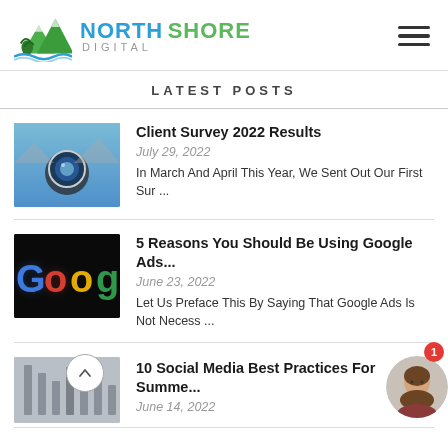North Shore Digital
LATEST POSTS
[Figure (photo): Person holding a camera lens with a lake and mountain behind it]
Client Survey 2022 Results
July 29, 2022
In March And April This Year, We Sent Out Our First Sur ...
[Figure (photo): Google neon sign with colorful letters on dark background]
5 Reasons You Should Be Using Google Ads...
June 23, 2022
Let Us Preface This By Saying That Google Ads Is Not Necess ...
[Figure (photo): Social media related photo, partially visible]
10 Social Media Best Practices For Summe...
June 14, 2022